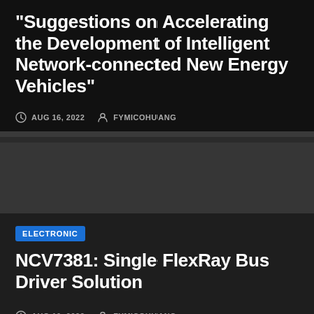“Suggestions on Accelerating the Development of Intelligent Network-connected New Energy Vehicles”
AUG 16, 2022   FYMICOHUANG
ELECTRONIC
NCV7381: Single FlexRay Bus Driver Solution
AUG 10, 2022   FYMICOHUANG